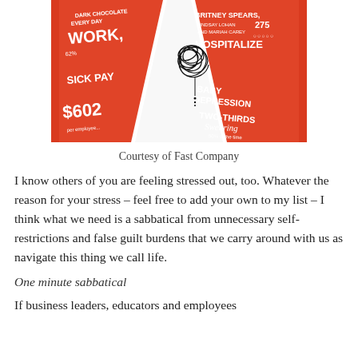[Figure (illustration): A collage/infographic image with red and white diagonal banners and bold text fragments including words like 'WORK', 'SICK PAY', '$602', 'BRITNEY SPEARS HOSPITALIZED', 'BABY DEPRESSION', 'TWO-THIRDS', 'Swearing', 'DARK CHOCOLATE EVERY DAY', '62%', '275', with a tangled scribble/knot graphic in the center on white background.]
Courtesy of Fast Company
I know others of you are feeling stressed out, too. Whatever the reason for your stress – feel free to add your own to my list – I think what we need is a sabbatical from unnecessary self-restrictions and false guilt burdens that we carry around with us as navigate this thing we call life.
One minute sabbatical
If business leaders, educators and employees